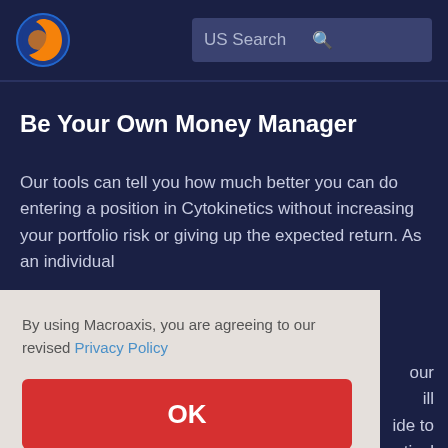[Figure (logo): Macroaxis logo: orange and blue circular globe icon]
US Search
Be Your Own Money Manager
Our tools can tell you how much better you can do entering a position in Cytokinetics without increasing your portfolio risk or giving up the expected return. As an individual ...our ...ill ...ide to ...rtical ...aluate ...ive to
By using Macroaxis, you are agreeing to our revised Privacy Policy
OK